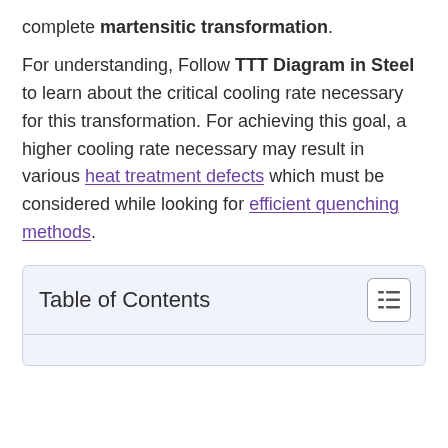complete martensitic transformation.
For understanding, Follow TTT Diagram in Steel to learn about the critical cooling rate necessary for this transformation. For achieving this goal, a higher cooling rate necessary may result in various heat treatment defects which must be considered while looking for efficient quenching methods.
| Table of Contents |
| --- |